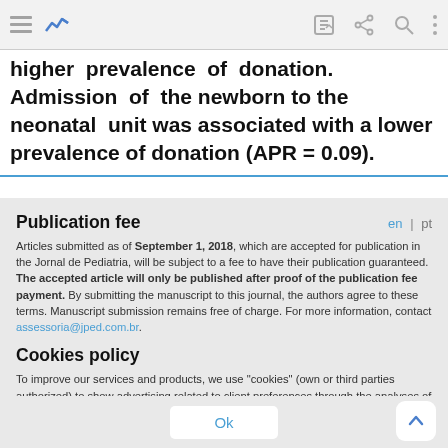[Mobile browser toolbar with hamburger menu, analytics icon, edit icon, share icon, search icon, options icon]
higher prevalence of donation. Admission of the newborn to the neonatal unit was associated with a lower prevalence of donation (APR = 0.09).
Publication fee
Articles submitted as of September 1, 2018, which are accepted for publication in the Jornal de Pediatria, will be subject to a fee to have their publication guaranteed. The accepted article will only be published after proof of the publication fee payment. By submitting the manuscript to this journal, the authors agree to these terms. Manuscript submission remains free of charge. For more information, contact assessoria@jped.com.br.
Cookies policy
To improve our services and products, we use "cookies" (own or third parties authorized) to show advertising related to client preferences through the analyses of navigation customer behavior. Continuing navigation will be considered as acceptance of this use. You can change the settings or obtain more information by clicking here.